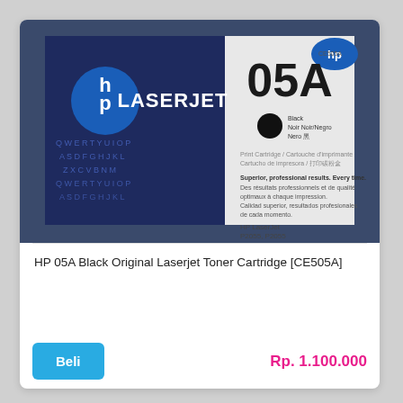[Figure (photo): HP 05A Black Original LaserJet Toner Cartridge box product photo. Black and blue box with HP logo and LaserJet branding, showing '05A' prominently on the right side.]
HP 05A Black Original Laserjet Toner Cartridge [CE505A]
Beli
Rp. 1.100.000